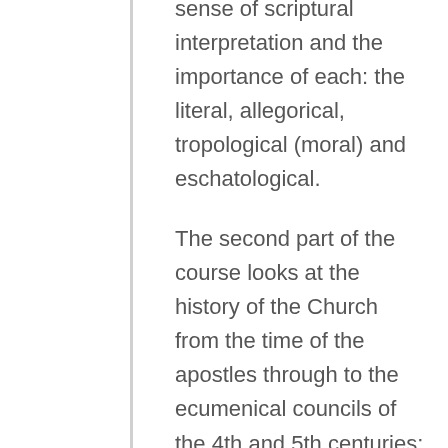sense of scriptural interpretation and the importance of each: the literal, allegorical, tropological (moral) and eschatological.
The second part of the course looks at the history of the Church from the time of the apostles through to the ecumenical councils of the 4th and 5th centuries: the teaching of the Apostles, the conversion of the Gentiles, the practices of the early church such as baptism and the Lord's Supper, persecution and martyrdom, the successors to the apostles (known as the Church Fathers), the Apostles Creed, the establishment of the canon of scriptures, the controversies over the nature of Christ